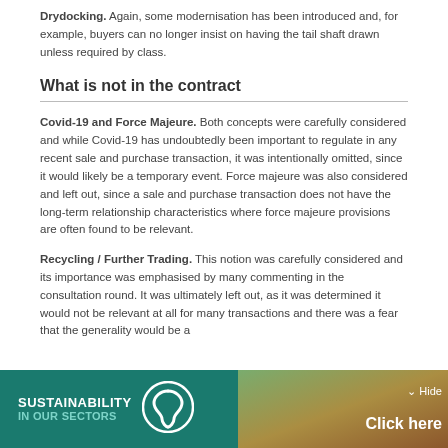Drydocking. Again, some modernisation has been introduced and, for example, buyers can no longer insist on having the tail shaft drawn unless required by class.
What is not in the contract
Covid-19 and Force Majeure. Both concepts were carefully considered and while Covid-19 has undoubtedly been important to regulate in any recent sale and purchase transaction, it was intentionally omitted, since it would likely be a temporary event. Force majeure was also considered and left out, since a sale and purchase transaction does not have the long-term relationship characteristics where force majeure provisions are often found to be relevant.
Recycling / Further Trading. This notion was carefully considered and its importance was emphasised by many commenting in the consultation round. It was ultimately left out, as it was determined it would not be relevant at all for many transactions and there was a fear that the generality would be a
[Figure (infographic): Sustainability banner with teal background, logo with 'S' symbol, text 'SUSTAINABILITY IN OUR SECTORS', and 'Hide' / 'Click here' buttons on right side with forest background image]